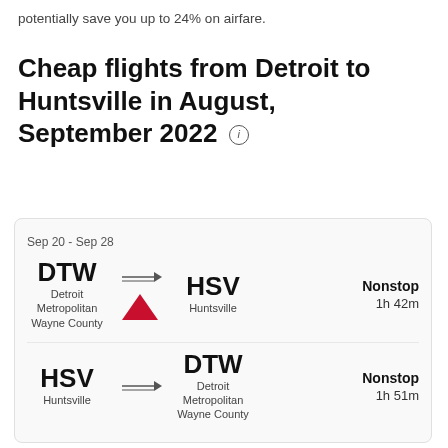potentially save you up to 24% on airfare.
Cheap flights from Detroit to Huntsville in August, September 2022
Sep 20 - Sep 28
DTW Detroit Metropolitan Wayne County → HSV Huntsville  Nonstop 1h 42m
HSV Huntsville → DTW Detroit Metropolitan Wayne County  Nonstop 1h 51m